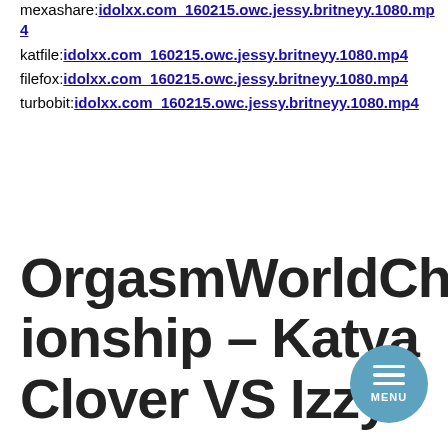mexashare:idolxx.com_160215.owc.jessy.britneyy.1080.mp4
katfile:idolxx.com_160215.owc.jessy.britneyy.1080.mp4
filefox:idolxx.com_160215.owc.jessy.britneyy.1080.mp4
turbobit:idolxx.com_160215.owc.jessy.britneyy.1080.mp4
OrgasmWorldChampionship – Katya Clover VS Izzy